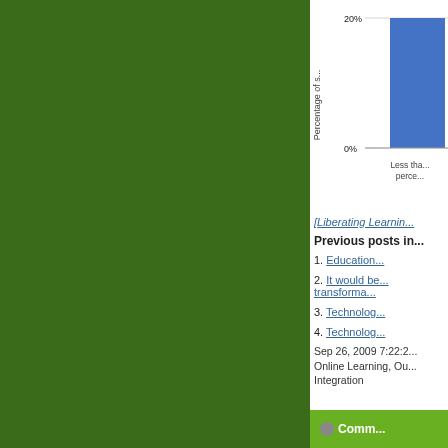[Figure (bar-chart): Partial bar chart visible showing 20% and 0% gridlines with a blue bar, x-axis label 'Less than... perce...']
[Liberating Learnin...
Previous posts in...
1. Education...
2. It would be... transforma...
3. Technolog...
4. Technolog...
Sep 26, 2009 7:22:2... Online Learning, Ou... Integration